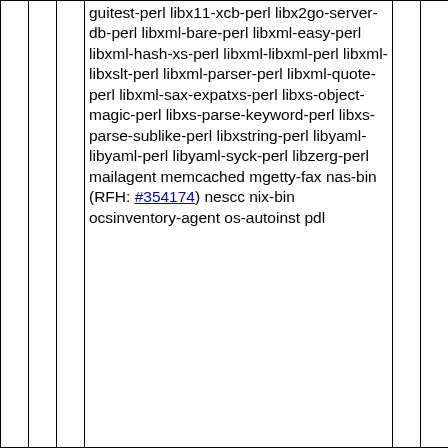|  |  |  | guitest-perl libx11-xcb-perl libx2go-server-db-perl libxml-bare-perl libxml-easy-perl libxml-hash-xs-perl libxml-libxml-perl libxml-libxslt-perl libxml-parser-perl libxml-quote-perl libxml-sax-expatxs-perl libxs-object-magic-perl libxs-parse-keyword-perl libxs-parse-sublike-perl libxstring-perl libyaml-libyaml-perl libyaml-syck-perl libzerg-perl mailagent memcached mgetty-fax nas-bin (RFH: #354174) nescc nix-bin ocsinventory-agent os-autoinst pdl |  |  |  |